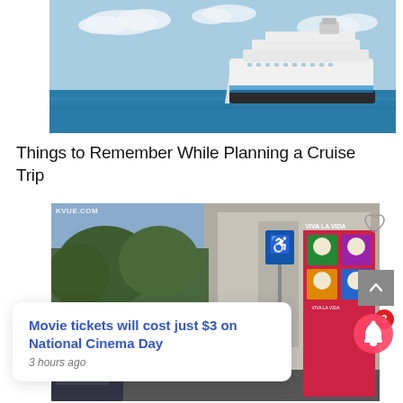[Figure (photo): Cruise ship on ocean with blue sky and clouds]
Things to Remember While Planning a Cruise Trip
[Figure (screenshot): Street-level scene with trees, a building, accessible parking sign, and colorful mural with skull artwork. KVUE.com watermark visible. Notification popup overlay: 'Movie tickets will cost just $3 on National Cinema Day' 3 hours ago. X close button visible. Bell icon with badge showing 3. Scroll to top button.]